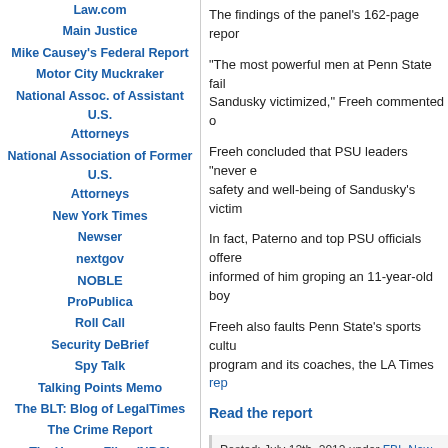Law.com
Main Justice
Mike Causey's Federal Report
Motor City Muckraker
National Assoc. of Assistant U.S. Attorneys
National Association of Former U.S. Attorneys
New York Times
Newser
nextgov
NOBLE
ProPublica
Roll Call
Security DeBrief
Spy Talk
Talking Points Memo
The BLT: Blog of LegalTimes
The Crime Report
The Hansen Files (NBC)
The Huffington Post
The Isikoff Files
The Prime-Time Crime Review
The Rap Sheet (Crime Fiction)
The findings of the panel's 162-page repor...
“The most powerful men at Penn State fail... Sandusky victimized,” Freeh commented...
Freeh concluded that PSU leaders “never... safety and well-being of Sandusky’s victim...
In fact, Paterno and top PSU officials offere... informed of him groping an 11-year-old bo...
Freeh also faults Penn State’s sports cultu... program and its coaches, the LA Times rep...
Read the report
Posted: July 12th, 2012 under FBI, New...
Tags: FBI, joe paterno, louie freeh, pen...
Comments: none